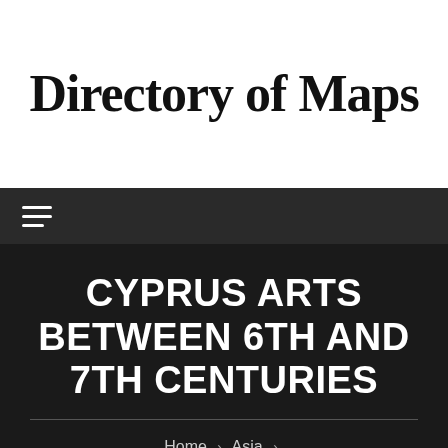Directory of Maps
CYPRUS ARTS BETWEEN 6TH AND 7TH CENTURIES
Home > Asia > Cyprus Arts Between 6th and 7th Centuries